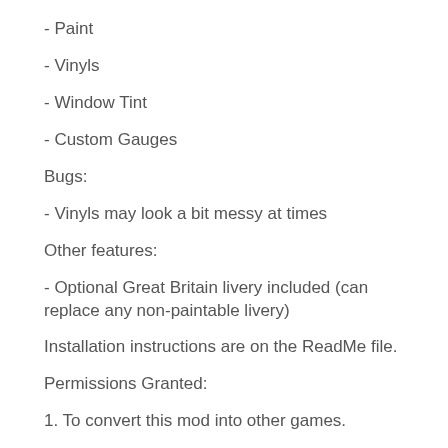- Paint
- Vinyls
- Window Tint
- Custom Gauges
Bugs:
- Vinyls may look a bit messy at times
Other features:
- Optional Great Britain livery included (can replace any non-paintable livery)
Installation instructions are on the ReadMe file.
Permissions Granted:
1. To convert this mod into other games.
2. To impove this mod by adding more customization into the mod or improving performance.
3. To add this car into repacks such as Redux, Remasters, Pepega Mod, etc.